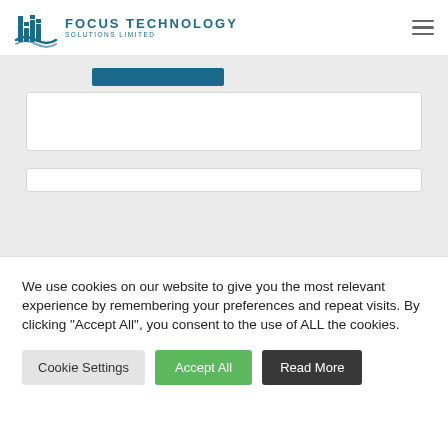[Figure (logo): Focus Technology Solutions Limited logo with teal/blue building and circuit icon, company name in teal uppercase letters]
We use cookies on our website to give you the most relevant experience by remembering your preferences and repeat visits. By clicking “Accept All”, you consent to the use of ALL the cookies.
Cookie Settings
Accept All
Read More